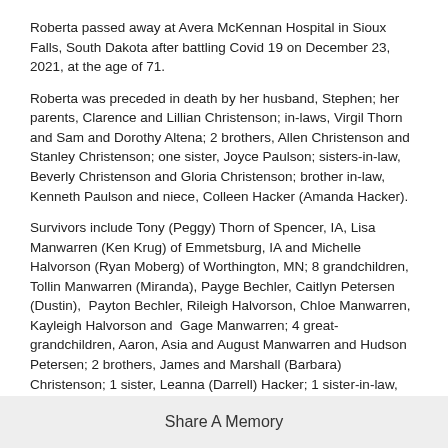Roberta passed away at Avera McKennan Hospital in Sioux Falls, South Dakota after battling Covid 19 on December 23, 2021, at the age of 71.
Roberta was preceded in death by her husband, Stephen; her parents, Clarence and Lillian Christenson; in-laws, Virgil Thorn and Sam and Dorothy Altena; 2 brothers, Allen Christenson and Stanley Christenson; one sister, Joyce Paulson; sisters-in-law, Beverly Christenson and Gloria Christenson; brother in-law, Kenneth Paulson and niece, Colleen Hacker (Amanda Hacker).
Survivors include Tony (Peggy) Thorn of Spencer, IA, Lisa Manwarren (Ken Krug) of Emmetsburg, IA and Michelle Halvorson (Ryan Moberg) of Worthington, MN; 8 grandchildren, Tollin Manwarren (Miranda), Payge Bechler, Caitlyn Petersen (Dustin),  Payton Bechler, Rileigh Halvorson, Chloe Manwarren, Kayleigh Halvorson and  Gage Manwarren; 4 great-grandchildren, Aaron, Asia and August Manwarren and Hudson Petersen; 2 brothers, James and Marshall (Barbara) Christenson; 1 sister, Leanna (Darrell) Hacker; 1 sister-in-law, Linda (Charles) Redemske; and many nieces and nephews.
Share A Memory